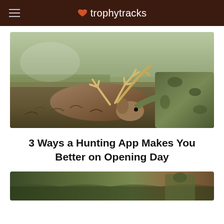trophytracks
[Figure (photo): Hunter in camouflage with a large whitetail buck deer with wide antler rack on the ground in a field]
3 Ways a Hunting App Makes You Better on Opening Day
[Figure (photo): Partial view of a second hunting scene, cut off at bottom of page]